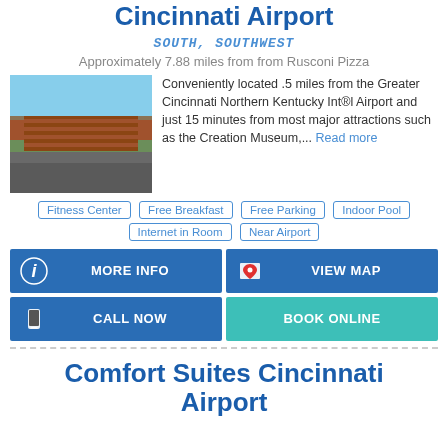Cincinnati Airport
SOUTH, SOUTHWEST
Approximately 7.88 miles from from Rusconi Pizza
[Figure (photo): Hotel building exterior photo showing a multi-story brick hotel with parking lot and trees]
Conveniently located .5 miles from the Greater Cincinnati Northern Kentucky Int®l Airport and just 15 minutes from most major attractions such as the Creation Museum,... Read more
Fitness Center
Free Breakfast
Free Parking
Indoor Pool
Internet in Room
Near Airport
MORE INFO
VIEW MAP
CALL NOW
BOOK ONLINE
Comfort Suites Cincinnati Airport